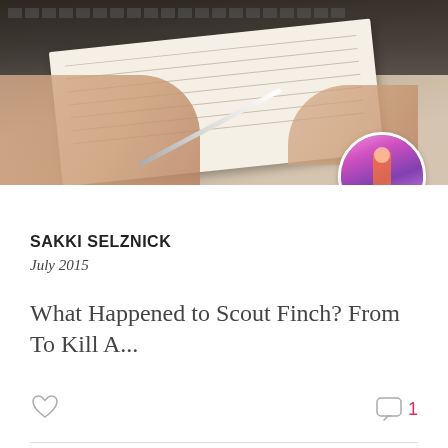[Figure (photo): Top hero image: hands writing in a notebook on a laptop keyboard, overhead view with warm tones]
SAKKI SELZNICK
July 2015
What Happened to Scout Finch? From To Kill A...
[Figure (illustration): Heart icon (like/favorite button)]
[Figure (illustration): Comment bubble icon with count 1]
[Figure (photo): Second post hero image: desk flatlay with orange coffee cup, open notebook with orange spine, keyboard, and pen, warm tones]